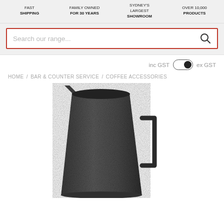FAST SHIPPING | FAMILY OWNED FOR 30 YEARS | SYDNEY'S LARGEST SHOWROOM | OVER 10,000 PRODUCTS
Search our range...
inc GST  ex GST
HOME / BAR & COUNTER SERVICE / COFFEE ACCESSORIES
[Figure (photo): Black stainless steel milk frothing jug/pitcher with handle, matte black finish, viewed from slight angle]